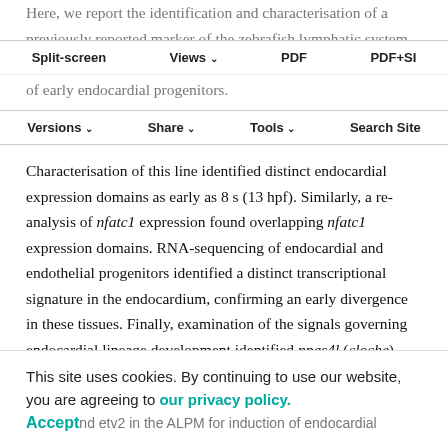Here, we report the identification and characterisation of a previously reported marker of the zebrafish lymphatic system (Bussmann et al., 2010; Okuda et al., 2012) as a novel marker of early endocardial progenitors.
Split-screen  Views  PDF  PDF+SI  Versions  Share  Tools  Search Site
Characterisation of this line identified distinct endocardial expression domains as early as 8 s (13 hpf). Similarly, a re-analysis of nfatc1 expression found overlapping nfatc1 expression domains. RNA-sequencing of endocardial and endothelial progenitors identified a distinct transcriptional signature in the endocardium, confirming an early divergence in these tissues. Finally, examination of the signals governing endocardial lineage development identified npas4l (cloche), etv2 (etsrp) and Bmp signalling as
This site uses cookies. By continuing to use our website, you are agreeing to our privacy policy. Accept